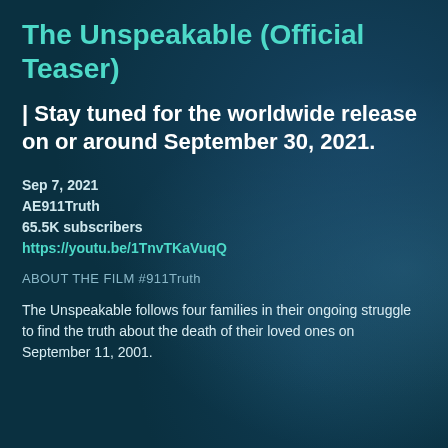The Unspeakable (Official Teaser)
| Stay tuned for the worldwide release on or around September 30, 2021.
Sep 7, 2021
AE911Truth
65.5K subscribers
https://youtu.be/1TnvTKaVuqQ
ABOUT THE FILM #911Truth
The Unspeakable follows four families in their ongoing struggle to find the truth about the death of their loved ones on September 11, 2001.